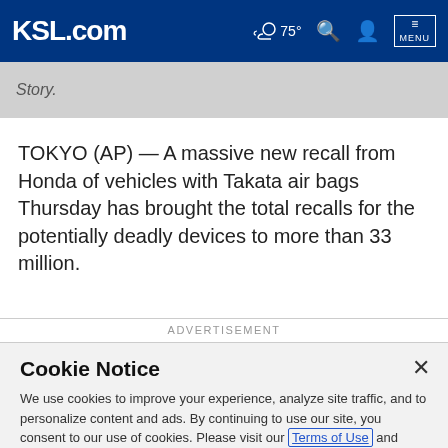KSL.com  75°  MENU
Story.
TOKYO (AP) — A massive new recall from Honda of vehicles with Takata air bags Thursday has brought the total recalls for the potentially deadly devices to more than 33 million.
ADVERTISEMENT
Cookie Notice
We use cookies to improve your experience, analyze site traffic, and to personalize content and ads. By continuing to use our site, you consent to our use of cookies. Please visit our Terms of Use and  Privacy Policy for more information.
Continue